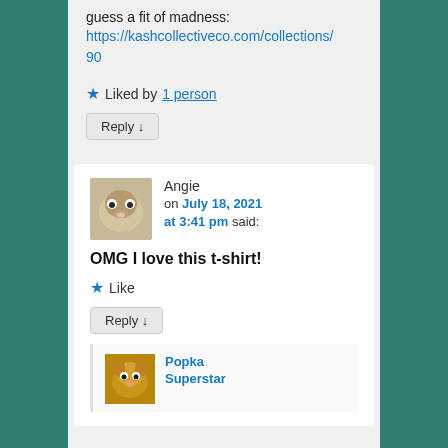guess a fit of madness: https://kashcollectiveco.com/collections/90
★ Liked by 1 person
Reply ↓
Angie on July 18, 2021 at 3:41 pm said:
OMG I love this t-shirt!
★ Like
Reply ↓
Popka Superstar